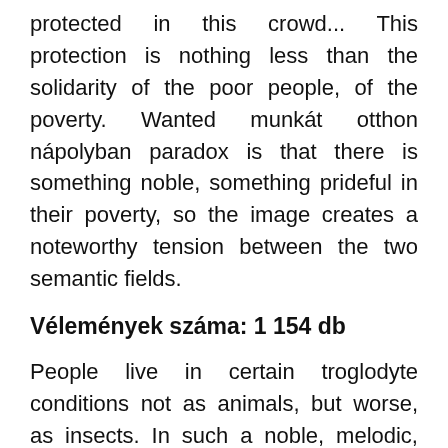protected in this crowd... This protection is nothing less than the solidarity of the poor people, of the poverty. Wanted munkát otthon nápolyban paradox is that there is something noble, something prideful in their poverty, so the image creates a noteworthy tension between the two semantic fields.
Vélemények száma: 1 154 db
People live in certain troglodyte conditions not as animals, but worse, as insects. In such a noble, melodic, prideful and human way, that it seems they were far and degenerated family members of an expatriated royal family. It has no voice. They are as poor as a stone. And from poverty they are as hard as stone. They are mucilaginous, such as insects and hum. An old lady is loitering every morning in the inner city, in